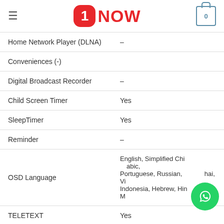1NOW
| Feature | Value |
| --- | --- |
| Home Network Player (DLNA) | - |
| Conveniences (-) |  |
| Digital Broadcast Recorder | - |
| Child Screen Timer | Yes |
| SleepTimer | Yes |
| Reminder | - |
| OSD Language | English, Simplified Chinese, Arabic, Portuguese, Russian, Thai, Vietnamese, Indonesia, Hebrew, Hindi, Bahasa Melayu |
| TELETEXT | Yes |
| Picture and Text | - |
| Picture and Net | - |